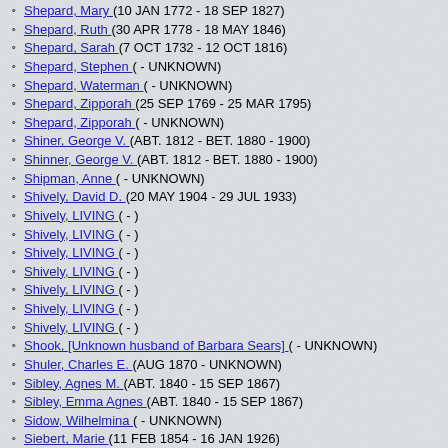Shepard, Mary (10 JAN 1772 - 18 SEP 1827)
Shepard, Ruth (30 APR 1778 - 18 MAY 1846)
Shepard, Sarah (7 OCT 1732 - 12 OCT 1816)
Shepard, Stephen ( - UNKNOWN)
Shepard, Waterman ( - UNKNOWN)
Shepard, Zipporah (25 SEP 1769 - 25 MAR 1795)
Shepard, Zipporah ( - UNKNOWN)
Shiner, George V. (ABT. 1812 - BET. 1880 - 1900)
Shinner, George V. (ABT. 1812 - BET. 1880 - 1900)
Shipman, Anne ( - UNKNOWN)
Shively, David D. (20 MAY 1904 - 29 JUL 1933)
Shively, LIVING ( - )
Shively, LIVING ( - )
Shively, LIVING ( - )
Shively, LIVING ( - )
Shively, LIVING ( - )
Shively, LIVING ( - )
Shively, LIVING ( - )
Shook, [Unknown husband of Barbara Sears] ( - UNKNOWN)
Shuler, Charles E. (AUG 1870 - UNKNOWN)
Sibley, Agnes M. (ABT. 1840 - 15 SEP 1867)
Sibley, Emma Agnes (ABT. 1840 - 15 SEP 1867)
Sidow, Wilhelmina ( - UNKNOWN)
Siebert, Marie (11 FEB 1854 - 16 JAN 1926)